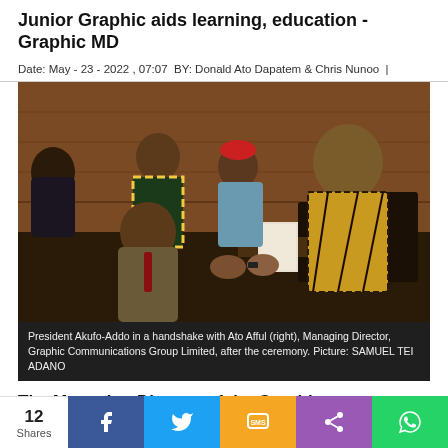Junior Graphic aids learning, education - Graphic MD
Date: May - 23 - 2022 , 07:07  BY: Donald Ato Dapatem & Chris Nunoo
[Figure (photo): President Akufo-Addo shaking hands with Ato Afful (right), Managing Director of Graphic Communications Group Limited, with other officials in the background.]
President Akufo-Addo in a handshake with Ato Afful (right), Managing Director, Graphic Communications Group Limited, after the ceremony. Picture: SAMUEL TEI ADANO
The Managing Director of the Graphic Communications
12 Shares